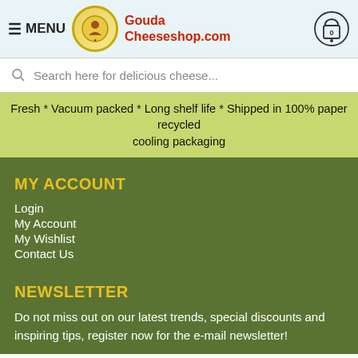≡ MENU — Gouda Cheeseshop.com
Search here for delicious cheese...
Fresh * Vacuum packed * Long shelf life * Shipped in 100% paper recycled cooling packaging
MY ACCOUNT
Login
My Account
My Wishlist
Contact Us
NEWSLETTER
Do not miss out on our latest trends, special discounts and inspiring tips, register now for the e-mail newsletter!